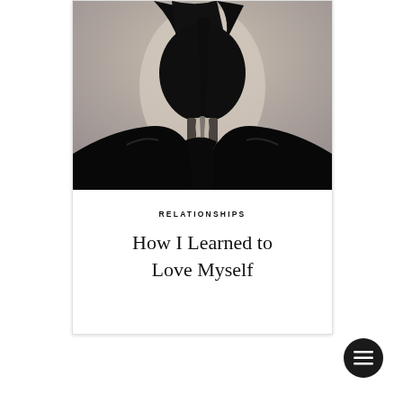[Figure (photo): Black and white silhouette photograph of a woman with hair pulled back, facing forward, wearing dark clothing against a light background. Face is obscured in shadow.]
RELATIONSHIPS
How I Learned to Love Myself
[Figure (other): Dark circular menu button with three horizontal lines (hamburger icon) in bottom right corner.]